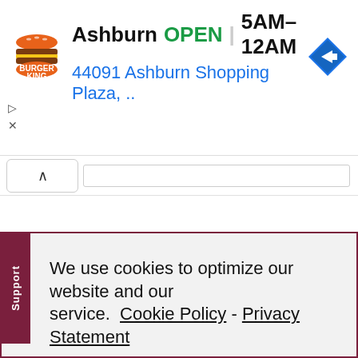[Figure (screenshot): Burger King advertisement banner showing logo, 'Ashburn OPEN 5AM-12AM' and address '44091 Ashburn Shopping Plaza, ..' with navigation icon]
We use cookies to optimize our website and our service.  Cookie Policy - Privacy Statement
Accept
POST COMMENT